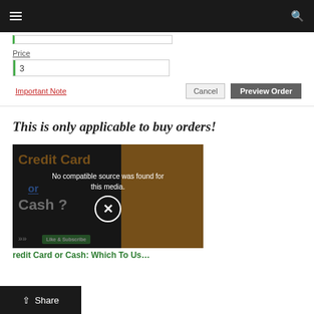Navigation bar with hamburger menu and search icon
[Figure (screenshot): Form section showing a price input field with value '3', an 'Important Note' link in red, and 'Cancel' and 'Preview Order' buttons]
This is only applicable to buy orders!
[Figure (screenshot): Video thumbnail showing 'Credit Card or Cash?' with overlay text 'No compatible source was found for this media.' and an X button. Green 'Like & Subscribe' button visible. Bottom caption: 'Credit Card or Cash: Which To Us...']
Credit Card or Cash: Which To Us...